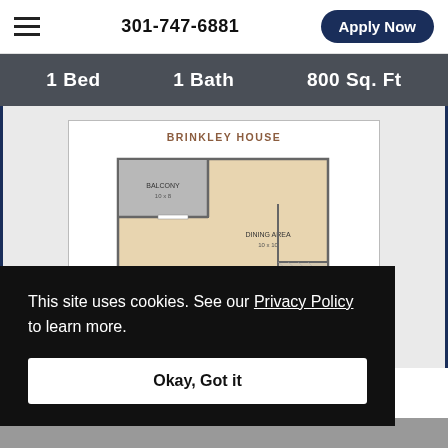301-747-6881   Apply Now
1 Bed   1 Bath   800 Sq. Ft
[Figure (schematic): Floor plan for Brinkley House showing a 1 bed / 1 bath apartment layout with balcony and dining/living area, approximately 800 sq ft]
This site uses cookies. See our Privacy Policy to learn more.
Okay, Got it